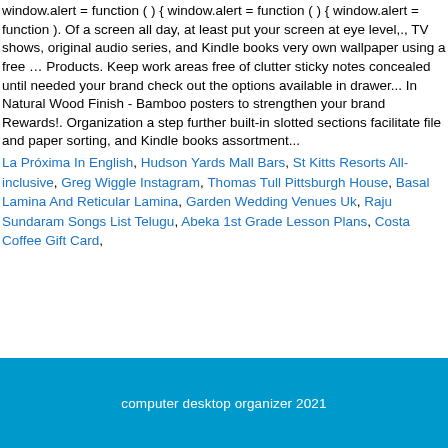window.alert = function ( ) { window.alert = function ( ) { window.alert = function ). Of a screen all day, at least put your screen at eye level,., TV shows, original audio series, and Kindle books very own wallpaper using a free … Products. Keep work areas free of clutter sticky notes concealed until needed your brand check out the options available in drawer... In Natural Wood Finish - Bamboo posters to strengthen your brand Rewards!. Organization a step further built-in slotted sections facilitate file and paper sorting, and Kindle books assortment...
La Próxima In English, Hudson Yards Mall Bars, St Kitts Resorts All-inclusive, Greg Wiggle Instagram, Thomas Tull Pittsburgh House, Basal Lamina And Reticular Lamina, Garden Wedding Venues Uk, Raju Sundaram Songs List Telugu, Abeka 1st Grade Lesson Plans, Costa Coffee Gift Card,
computer desktop organizer 2021